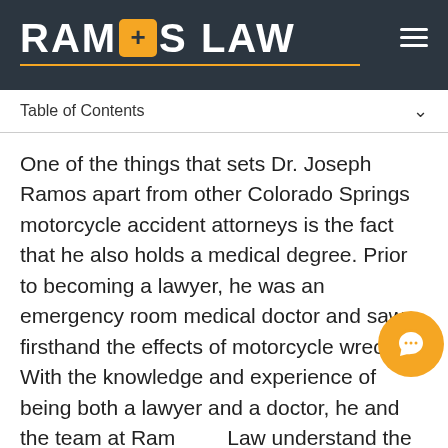[Figure (logo): Ramos Law logo with gold plus-sign icon on dark background header]
Table of Contents
One of the things that sets Dr. Joseph Ramos apart from other Colorado Springs motorcycle accident attorneys is the fact that he also holds a medical degree. Prior to becoming a lawyer, he was an emergency room medical doctor and saw firsthand the effects of motorcycle wrecks. With the knowledge and experience of being both a lawyer and a doctor, he and the team at Ramos Law understand the difficulties that victims of motorcycle crashes face. Our motorcycle accident lawyers have the resources and skills needed to investigate your case, examine the specifics of